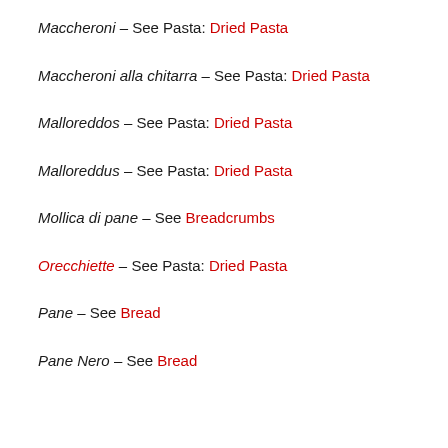Maccheroni – See Pasta: Dried Pasta
Maccheroni alla chitarra – See Pasta: Dried Pasta
Malloreddos – See Pasta: Dried Pasta
Malloreddus – See Pasta: Dried Pasta
Mollica di pane – See Breadcrumbs
Orecchiette – See Pasta: Dried Pasta
Pane – See Bread
Pane Nero – See Bread